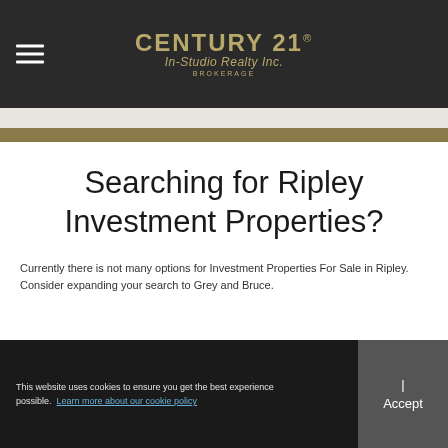CENTURY 21 In-Studio Realty Inc. BROKERAGE
Searching for Ripley Investment Properties?
Currently there is not many options for Investment Properties For Sale in Ripley. Consider expanding your search to Grey and Bruce.
This website uses cookies to ensure you get the best experience possible. Learn more about our cookie policy | Accept